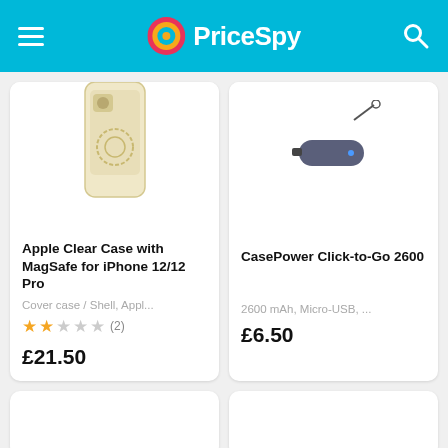PriceSpy
[Figure (photo): Apple Clear Case with MagSafe for iPhone 12/12 Pro product image on white background]
Apple Clear Case with MagSafe for iPhone 12/12 Pro
Cover case / Shell, Appl...
★★☆☆☆ (2)
£21.50
[Figure (photo): CasePower Click-to-Go 2600 portable power bank product image on white background]
CasePower Click-to-Go 2600
2600 mAh, Micro-USB, ...
£6.50